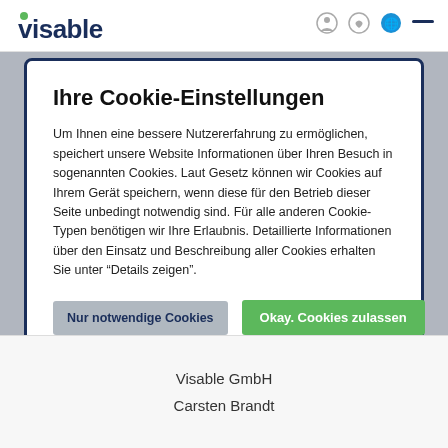[Figure (logo): visable logo top left in dark navy with green dot]
Ihre Cookie-Einstellungen
Um Ihnen eine bessere Nutzererfahrung zu ermöglichen, speichert unsere Website Informationen über Ihren Besuch in sogenannten Cookies. Laut Gesetz können wir Cookies auf Ihrem Gerät speichern, wenn diese für den Betrieb dieser Seite unbedingt notwendig sind. Für alle anderen Cookie-Typen benötigen wir Ihre Erlaubnis. Detaillierte Informationen über den Einsatz und Beschreibung aller Cookies erhalten Sie unter "Details zeigen".
Nur notwendige Cookies | Okay. Cookies zulassen
Details zeigen
Visable GmbH
Carsten Brandt